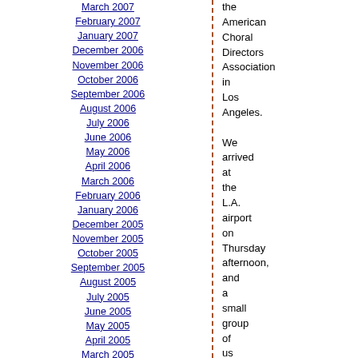March 2007
February 2007
January 2007
December 2006
November 2006
October 2006
September 2006
August 2006
July 2006
June 2006
May 2006
April 2006
March 2006
February 2006
January 2006
December 2005
November 2005
October 2005
September 2005
August 2005
July 2005
June 2005
May 2005
April 2005
March 2005
February 2005
January 2005
December 2004
November 2004
October 2004
September 2004
August 2004
the American Choral Directors Association in Los Angeles. We arrived at the L.A. airport on Thursday afternoon, and a small group of us rented a car and drove around